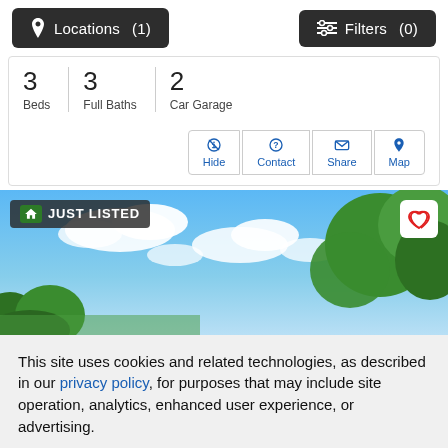Locations (1)   Filters (0)
3 Beds   3 Full Baths   2 Car Garage
[Figure (screenshot): Real estate listing photo showing blue sky with white clouds and green trees — labeled JUST LISTED with a favorite heart button]
This site uses cookies and related technologies, as described in our privacy policy, for purposes that may include site operation, analytics, enhanced user experience, or advertising.
Manage Preferences   Accept